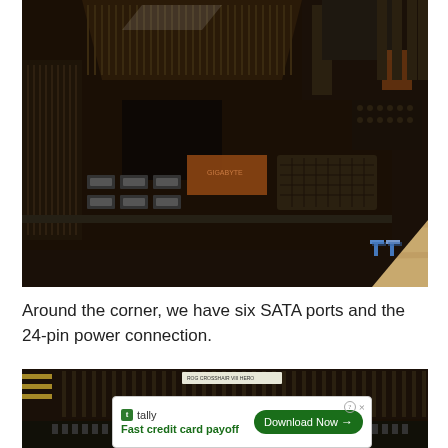[Figure (photo): Close-up photo of a computer motherboard showing six SATA ports and a 24-pin ATX power connector. The board features dark brown/black PCB with heatsinks and various connectors visible. A TweakTown watermark logo is in the bottom-right corner. The board is photographed on a wooden surface.]
Around the corner, we have six SATA ports and the 24-pin power connection.
[Figure (photo): Close-up photo of a computer motherboard showing RAM slots and heatsink fins in dark brown/black. An advertisement overlay from Tally ('Fast credit card payoff') with a 'Download Now' button partially covers the bottom of the image.]